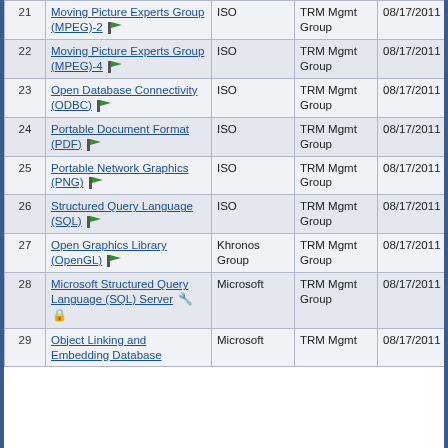| # | Name | Sponsor | Group | Date | Status |
| --- | --- | --- | --- | --- | --- |
| 21 | Moving Picture Experts Group (MPEG)-2 [flag] | ISO | TRM Mgmt Group | 08/17/2011 | New |
| 22 | Moving Picture Experts Group (MPEG)-4 [flag] | ISO | TRM Mgmt Group | 08/17/2011 | New |
| 23 | Open Database Connectivity (ODBC) [flag] | ISO | TRM Mgmt Group | 08/17/2011 | New |
| 24 | Portable Document Format (PDF) [flag] | ISO | TRM Mgmt Group | 08/17/2011 | New |
| 25 | Portable Network Graphics (PNG) [flag] | ISO | TRM Mgmt Group | 08/17/2011 | New |
| 26 | Structured Query Language (SQL) [flag] | ISO | TRM Mgmt Group | 08/17/2011 | New |
| 27 | Open Graphics Library (OpenGL) [flag] | Khronos Group | TRM Mgmt Group | 08/17/2011 | New |
| 28 | Microsoft Structured Query Language (SQL) Server [wrench][lock] | Microsoft | TRM Mgmt Group | 08/17/2011 | New |
| 29 | Object Linking and Embedding Database... | Microsoft | TRM Mgmt... | 08/17/2011 | New |